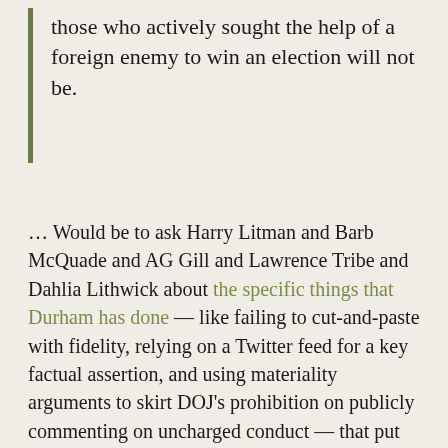those who actively sought the help of a foreign enemy to win an election will not be.
… Would be to ask Harry Litman and Barb McQuade and AG Gill and Lawrence Tribe and Dahlia Lithwick about the specific things that Durham has done — like failing to cut-and-paste with fidelity, relying on a Twitter feed for a key factual assertion, and using materiality arguments to skirt DOJ's prohibition on publicly commenting on uncharged conduct — that put his prosecutions in violation of DOJ guidelines. Such questions would be readily accessible to all by reading just two indictments (as compared to the full dockets of 675 charged January 6 defendants), it would draw on the considerable expertise of the